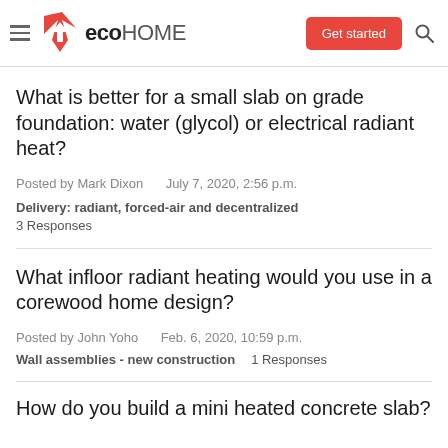eco HOME — Get started
What is better for a small slab on grade foundation: water (glycol) or electrical radiant heat?
Posted by Mark Dixon   July 7, 2020, 2:56 p.m.
Delivery: radiant, forced-air and decentralized   3 Responses
What infloor radiant heating would you use in a corewood home design?
Posted by John Yoho   Feb. 6, 2020, 10:59 p.m.
Wall assemblies - new construction   1 Responses
How do you build a mini heated concrete slab?